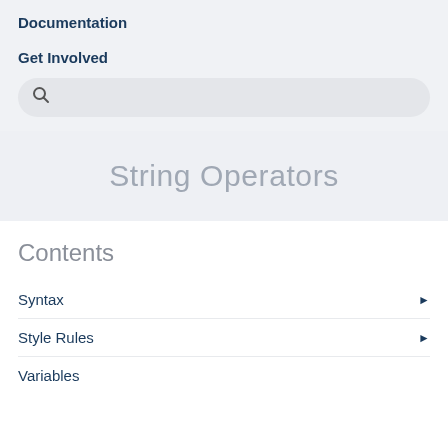Documentation
Get Involved
String Operators
Contents
Syntax
Style Rules
Variables